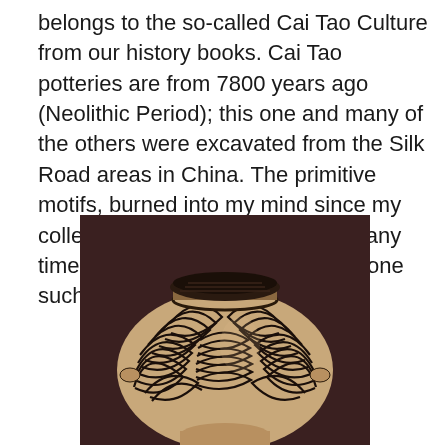belongs to the so-called Cai Tao Culture from our history books. Cai Tao potteries are from 7800 years ago (Neolithic Period); this one and many of the others were excavated from the Silk Road areas in China. The primitive motifs, burned into my mind since my college years, have manifested many times through my work. Lumen is one such manifestation.
[Figure (photo): Photograph of a Cai Tao (Neolithic) pottery vessel with intricate black and white spiral/swirl motifs painted on a rounded body, small handles on sides, and a flat-rimmed dark lid, against a dark brown background.]